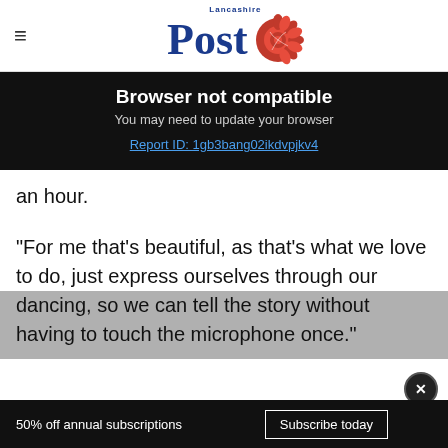Lancashire Post
Browser not compatible
You may need to update your browser
Report ID: 1gb3bang02ikdvpjkv4
an hour.
"For me that's beautiful, as that's what we love to do, just express ourselves through our dancing, so we can tell the story without having to touch the microphone once."
50% off annual subscriptions   Subscribe today